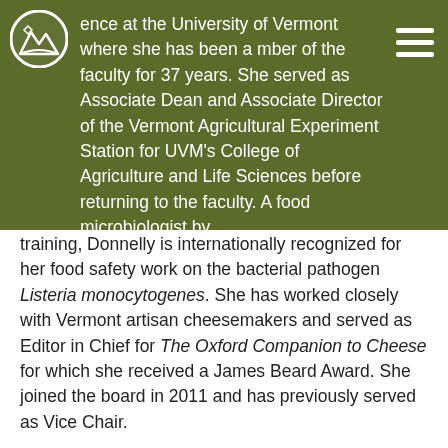[Figure (logo): Circular logo with a stylized landscape/mountain graphic in white on a dark olive/green background]
ence at the University of Vermont where she has been a mber of the faculty for 37 years. She served as Associate Dean and Associate Director of the Vermont Agricultural Experiment Station for UVM's College of Agriculture and Life Sciences before returning to the faculty. A food microbiologist by training, Donnelly is internationally recognized for her food safety work on the bacterial pathogen Listeria monocytogenes. She has worked closely with Vermont artisan cheesemakers and served as Editor in Chief for The Oxford Companion to Cheese for which she received a James Beard Award. She joined the board in 2011 and has previously served as Vice Chair.
Cathy and her husband, Scott, own The Lakeview Inn, on Caspian Lake in Greensboro. The Lakeview Inn supports Vermont's working landscape by providing a study center to promote local and regional food products produced by small-scale food entrepreneurs.